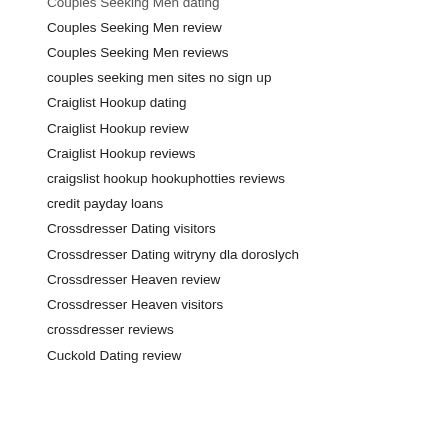Couples Seeking Men dating
Couples Seeking Men review
Couples Seeking Men reviews
couples seeking men sites no sign up
Craiglist Hookup dating
Craiglist Hookup review
Craiglist Hookup reviews
craigslist hookup hookuphotties reviews
credit payday loans
Crossdresser Dating visitors
Crossdresser Dating witryny dla doroslych
Crossdresser Heaven review
Crossdresser Heaven visitors
crossdresser reviews
Cuckold Dating review